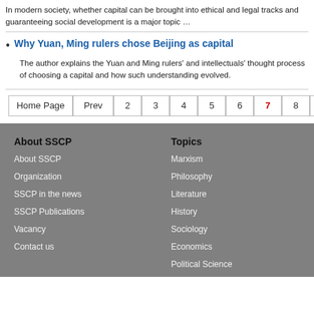In modern society, whether capital can be brought into ethical and legal tracks and guaranteeing social development is a major topic …
Why Yuan, Ming rulers chose Beijing as capital
The author explains the Yuan and Ming rulers' and intellectuals' thought process of choosing a capital and how such understanding evolved.
Home Page  Prev  2  3  4  5  6  7  8  9  10  11
About SSCP
About SSCP
Organization
SSCP in the news
SSCP Publications
Vacancy
Contact us
Topics
Marxism
Philosophy
Literature
History
Sociology
Economics
Political Science